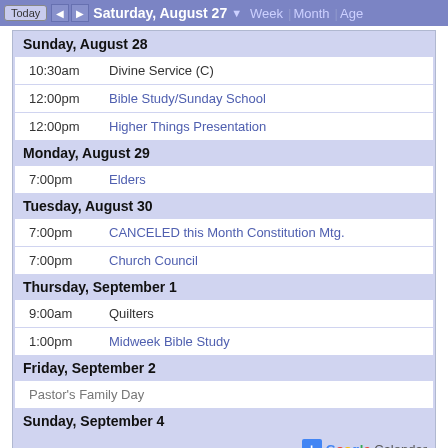Today | < | > | Saturday, August 27 ▼ | Week | Month | Age
Sunday, August 28
10:30am  Divine Service (C)
12:00pm  Bible Study/Sunday School
12:00pm  Higher Things Presentation
Monday, August 29
7:00pm  Elders
Tuesday, August 30
7:00pm  CANCELED this Month Constitution Mtg.
7:00pm  Church Council
Thursday, September 1
9:00am  Quilters
1:00pm  Midweek Bible Study
Friday, September 2
Pastor's Family Day
Sunday, September 4
+ Google Calendar